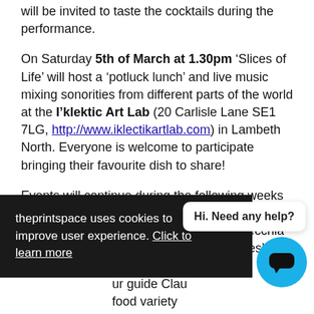will be invited to taste the cocktails during the performance.
On Saturday 5th of March at 1.30pm 'Slices of Life' will host a 'potluck lunch' and live music mixing sonorities from different parts of the world at the I'klektic Art Lab (20 Carlisle Lane SE1 7LG, http://www.iklectikartlab.com) in Lambeth North. Everyone is welcome to participate bringing their favourite dish to share!
Events will continue during the following weeks back to The Muse: on the 12th March at 2pm fine art mix media artist Federica Dalla Vecchia will involve the public in 'Preserving Stories' a jam [...]on followed at [...] our guide Clau[...] food variety [...] is required). [...] show will then close on the 20th of March with a
theprintspace uses cookies to improve user experience. Click to learn more
Hi. Need any help?